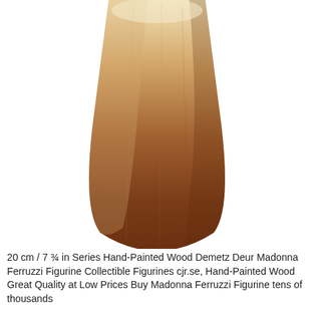[Figure (photo): Close-up photo of the base/bottom of a hand-painted wood figurine, showing a rounded trapezoidal wooden base with an ombre gradient from light tan/cream at the top fading to warm medium brown at the bottom edges, on a white background.]
20 cm / 7 ¾ in Series Hand-Painted Wood Demetz Deur Madonna Ferruzzi Figurine Collectible Figurines cjr.se, Hand-Painted Wood Great Quality at Low Prices Buy Madonna Ferruzzi Figurine tens of thousands